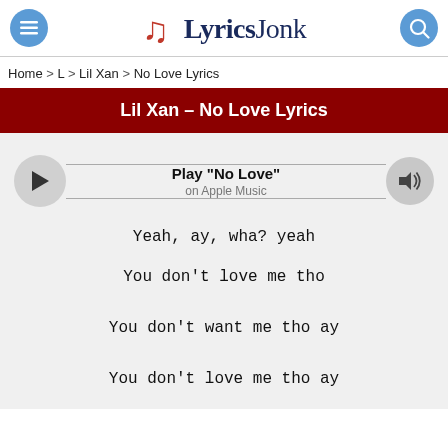LyricsJonk
Home > L > Lil Xan > No Love Lyrics
Lil Xan – No Love Lyrics
[Figure (other): Audio player widget showing Play 'No Love' on Apple Music with play button and volume button]
Yeah, ay, wha? yeah

You don't love me tho
You don't want me tho ay
You don't love me tho ay